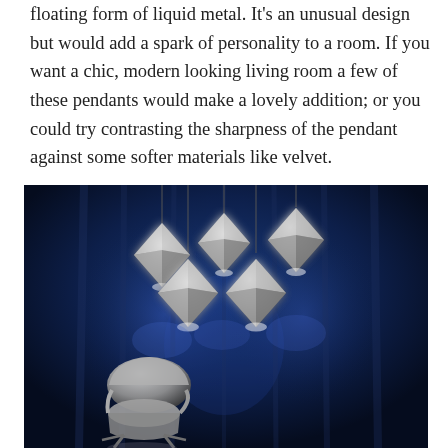floating form of liquid metal. It's an unusual design but would add a spark of personality to a room. If you want a chic, modern looking living room a few of these pendants would make a lovely addition; or you could try contrasting the sharpness of the pendant against some softer materials like velvet.
[Figure (photo): Photograph of six diamond-shaped metallic silver pendant lights hanging from the ceiling against a dark blue background, with a silver metallic chair visible in the lower left portion of the image.]